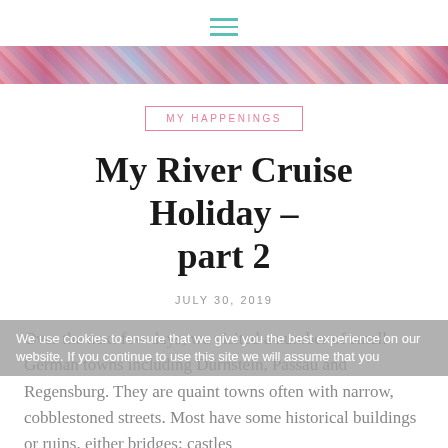≡
[Figure (photo): Colorful flower banner image spanning full page width]
MY HAPPENINGS
My River Cruise Holiday – part 2
JULY 30, 2019
Over the next few days, we visited a number of small German towns including Dürnstein, Passau and Regensburg. They are quaint towns often with narrow, cobblestoned streets. Most have some historical buildings or ruins, either bridges; castles
We use cookies to ensure that we give you the best experience on our website. If you continue to use this site we will assume that you